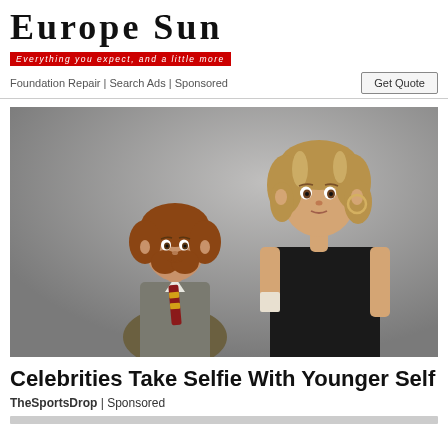Europe Sun — Everything you expect, and a little more
Foundation Repair | Search Ads | Sponsored
[Figure (photo): Two females side by side against a grey background: on the left a young girl with curly reddish-brown hair wearing a school uniform with a striped tie (resembling Hermione Granger from Harry Potter), on the right a young adult woman with shoulder-length blonde-highlighted hair wearing a black sleeveless dress, hoop earrings.]
Celebrities Take Selfie With Younger Self
TheSportsDrop | Sponsored